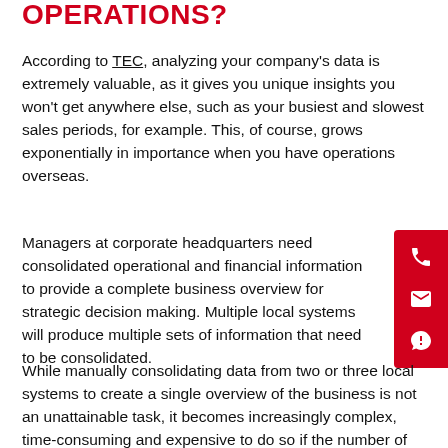OPERATIONS?
According to TEC, analyzing your company's data is extremely valuable, as it gives you unique insights you won't get anywhere else, such as your busiest and slowest sales periods, for example. This, of course, grows exponentially in importance when you have operations overseas.
Managers at corporate headquarters need consolidated operational and financial information to provide a complete business overview for strategic decision making. Multiple local systems will produce multiple sets of information that need to be consolidated.
While manually consolidating data from two or three local systems to create a single overview of the business is not an unattainable task, it becomes increasingly complex, time-consuming and expensive to do so if the number of such "local" tools proliferates.